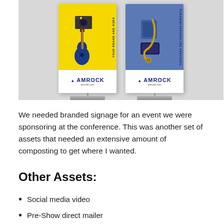[Figure (photo): Two AMROCK branded roll-up banner stands displayed side by side against a light gray wall. The left banner features a yellow top section with a guitar and speaker, and the right banner features a yellow top section with a saxophone and case. Both banners show the AMROCK logo and amrock.com URL at the bottom.]
We needed branded signage for an event we were sponsoring at the conference. This was another set of assets that needed an extensive amount of composting to get where I wanted.
Other Assets:
Social media video
Pre-Show direct mailer